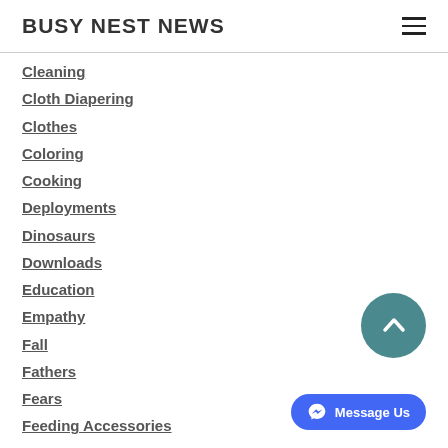BUSY NEST NEWS
Cleaning
Cloth Diapering
Clothes
Coloring
Cooking
Deployments
Dinosaurs
Downloads
Education
Empathy
Fall
Fathers
Fears
Feeding Accessories
Feelings
Fiction